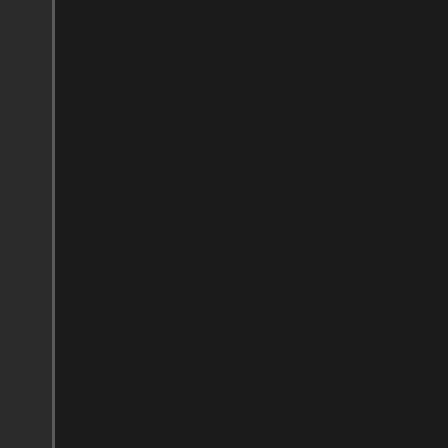while his former wife saw the ki supervised visits.

Courts will determine future arra the jury's verdict.

Despite the anguish that Jones father during the two-week orde of humor changed. Asked whet massacre was a “false flag” ope every lead should be investigate doesn’t deserve our trust.

And when asked whether he sti Barack Obama is really the fath that was an obvious example of

“I was sitting there with [Mark] was clearly a joke. We were lau
04-29-2017, 03:08 PM
FORD
Master of the Universe
ROTHARMY MODERATOR